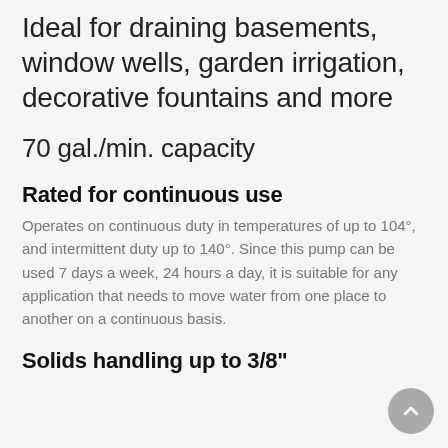Ideal for draining basements, window wells, garden irrigation, decorative fountains and more
70 gal./min. capacity
Rated for continuous use
Operates on continuous duty in temperatures of up to 104°, and intermittent duty up to 140°. Since this pump can be used 7 days a week, 24 hours a day, it is suitable for any application that needs to move water from one place to another on a continuous basis.
Solids handling up to 3/8"